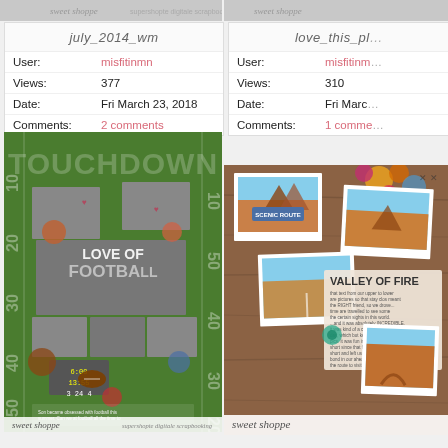[Figure (screenshot): Top strip partial scrapbook image left - sweet shoppe watermark visible]
[Figure (screenshot): Top strip partial scrapbook image right - sweet shoppe watermark visible]
| User: | misfitinmn |
| Views: | 377 |
| Date: | Fri March 23, 2018 |
| Comments: | 2 comments |
| User: | misfitinmn |
| Views: | 310 |
| Date: | Fri Marc... |
| Comments: | 1 comme... |
[Figure (photo): Digital scrapbook page with football theme - TOUCHDOWN text, LOVE OF FOOTBALL, black and white photos of children playing football on green football field background with yard markers, flowers and decorative elements. Sweet Shoppe watermark at bottom.]
[Figure (photo): Digital scrapbook page with Valley of Fire theme - scenic route banner, desert rock formation photos, polaroid style photos on wood background, VALLEY OF FIRE text with journaling. Sweet Shoppe watermark at bottom.]